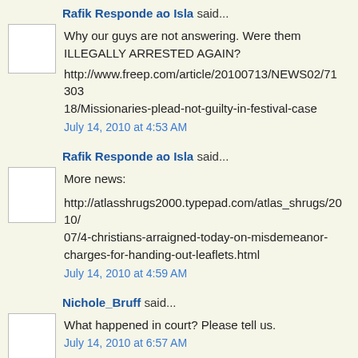Rafik Responde ao Isla said...
Why our guys are not answering. Were them ILLEGALLY ARRESTED AGAIN?
http://www.freep.com/article/20100713/NEWS02/71303 18/Missionaries-plead-not-guilty-in-festival-case
July 14, 2010 at 4:53 AM
Rafik Responde ao Isla said...
More news:
http://atlasshrugs2000.typepad.com/atlas_shrugs/2010/07/4-christians-arraigned-today-on-misdemeanor-charges-for-handing-out-leaflets.html
July 14, 2010 at 4:59 AM
Nichole_Bruff said...
What happened in court? Please tell us.
July 14, 2010 at 6:57 AM